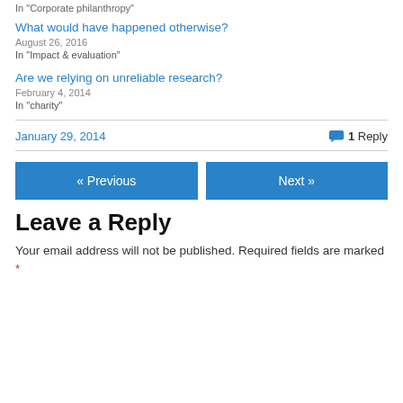In  "Corporate philanthropy"
What would have happened otherwise?
August 26, 2016
In "Impact & evaluation"
Are we relying on unreliable research?
February 4, 2014
In "charity"
January 29, 2014
1 Reply
« Previous
Next »
Leave a Reply
Your email address will not be published. Required fields are marked *